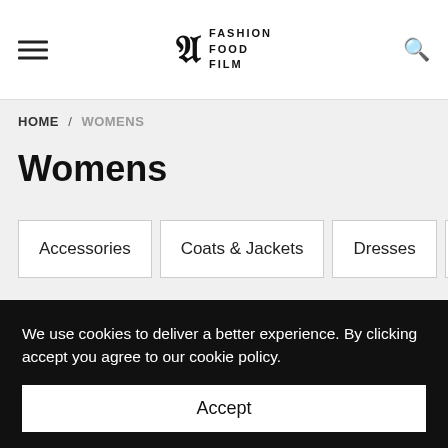Fashion Food Film logo with hamburger menu and search icon
HOME / WOMENS
Womens
Accessories
Coats & Jackets
Dresses
Jeans
Jum
FILTER
We use cookies to deliver a better experience. By clicking accept you agree to our cookie policy.
Accept